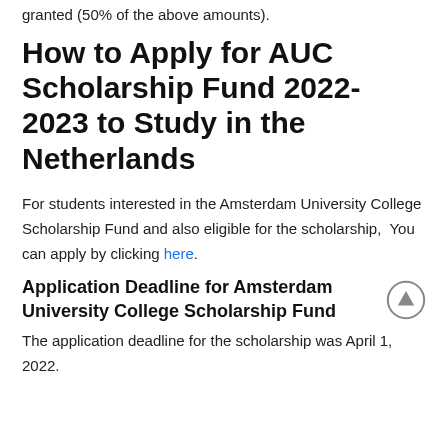granted (50% of the above amounts).
How to Apply for AUC Scholarship Fund 2022-2023 to Study in the Netherlands
For students interested in the Amsterdam University College Scholarship Fund and also eligible for the scholarship,  You can apply by clicking here.
Application Deadline for Amsterdam University College Scholarship Fund
The application deadline for the scholarship was April 1, 2022.